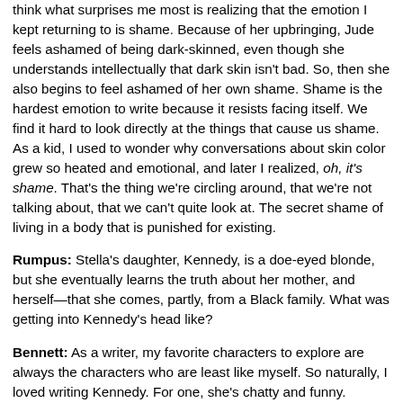think what surprises me most is realizing that the emotion I kept returning to is shame. Because of her upbringing, Jude feels ashamed of being dark-skinned, even though she understands intellectually that dark skin isn't bad. So, then she also begins to feel ashamed of her own shame. Shame is the hardest emotion to write because it resists facing itself. We find it hard to look directly at the things that cause us shame. As a kid, I used to wonder why conversations about skin color grew so heated and emotional, and later I realized, oh, it's shame. That's the thing we're circling around, that we're not talking about, that we can't quite look at. The secret shame of living in a body that is punished for existing.
Rumpus: Stella's daughter, Kennedy, is a doe-eyed blonde, but she eventually learns the truth about her mother, and herself—that she comes, partly, from a Black family. What was getting into Kennedy's head like?
Bennett: As a writer, my favorite characters to explore are always the characters who are least like myself. So naturally, I loved writing Kennedy. For one, she's chatty and funny. There's a kinetic energy to the way that she never stops talking, and I actually wrote her section in the first person at one point to see if I could capture some of that chatty energy even inside her thought process. Beyond her voice, I also just love how she can alternate between self-awareness and